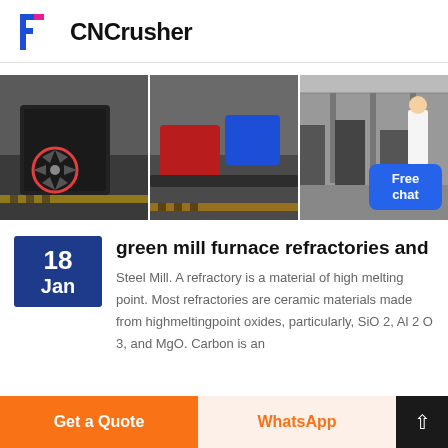CNCrusher
[Figure (photo): Three industrial crushing machine photos shown side by side in a banner: left shows a large black crusher machine with red-circled fan wheel, middle shows red/blue industrial crushers in a factory, right shows a factory floor with heavy machinery and a woman in white coat. A blue 'Free chat' button appears at bottom right.]
green mill furnace refractories and
Steel Mill. A refractory is a material of high melting point. Most refractories are ceramic materials made from highmeltingpoint oxides, particularly, SiO 2, Al 2 O 3, and MgO. Carbon is an
Get a Quote | WhatsApp